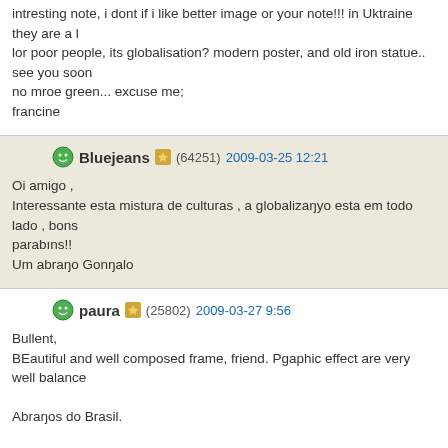intresting note, i dont if i like better image or your note!!! in Uktraine they are a l
lor poor people, its globalisation? modern poster, and old iron statue..
see you soon
no mroe green... excuse me;
francine
Bluejeans (64251) 2009-03-25 12:21
Oi amigo ,
Interessante esta mistura de culturas , a globalizanyo esta em todo lado , bons
parabins!!
Um abrano Gonρalo
paura (25802) 2009-03-27 9:56
Bullent,
BEautiful and well composed frame, friend. Pgaphic effect are very well balance
Abrangos do Brasil.
Paulo
mafegan (8626) 2009-07-01 17:01